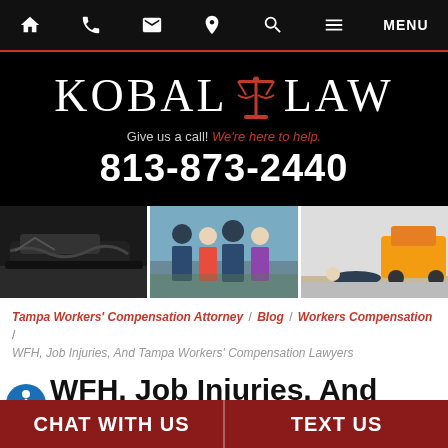Navigation bar with home, phone, email, location, search, menu icons
[Figure (logo): Kobal Law logo with scales of justice icon, tagline 'Give us a call! We're here to help.' and phone number 813-873-2440]
[Figure (photo): Three-panel photo strip: crashed cars on left, group of lawyers/family in center, warehouse accident on right]
Tampa Workers' Compensation Attorney / Blog / Workers Compensation / WFH, Job Injuries, And Tampa Workers' Compensation Lawyers
WFH, Job Injuries, And Tampa Workers' Compensation Lawyers
CHAT WITH US | TEXT US